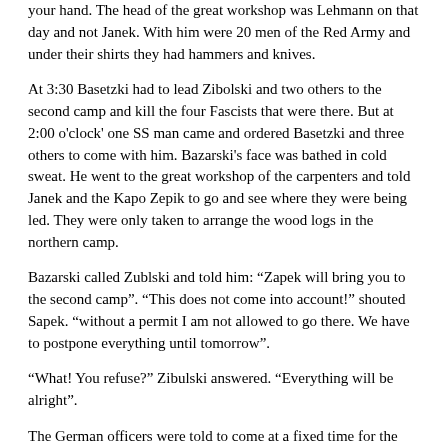your hand. The head of the great workshop was Lehmann on that day and not Janek. With him were 20 men of the Red Army and under their shirts they had hammers and knives.
At 3:30 Basetzki had to lead Zibolski and two others to the second camp and kill the four Fascists that were there. But at 2:00 o'clock' one SS man came and ordered Basetzki and three others to come with him. Bazarski's face was bathed in cold sweat. He went to the great workshop of the carpenters and told Janek and the Kapo Zepik to go and see where they were being led. They were only taken to arrange the wood logs in the northern camp.
Bazarski called Zublski and told him: “Zapek will bring you to the second camp”. “This does not come into account!” shouted Sapek. “without a permit I am not allowed to go there. We have to postpone everything until tomorrow”.
“What! You refuse?” Zibulski answered. “Everything will be alright”.
The German officers were told to come at a fixed time for the fittings of the suits or boots. The executioner Neumann had to be the first to come to the workshop of the tailors. At 4:00 o’clock.
He came riding in 20 minutes before the time. The main tailor, Jusek and the “tailors” Shubajew and Rosenfeld asked him to take